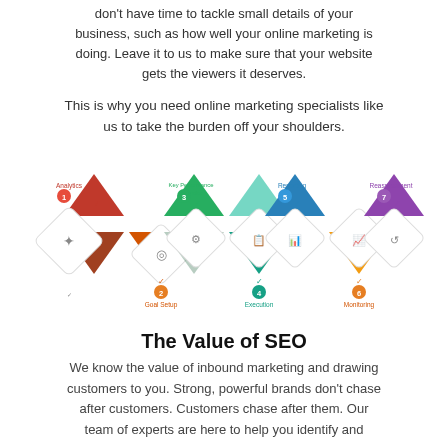don't have time to tackle small details of your business, such as how well your online marketing is doing. Leave it to us to make sure that your website gets the viewers it deserves.
This is why you need online marketing specialists like us to take the burden off your shoulders.
[Figure (infographic): Seven-step SEO process infographic showing numbered steps in a zigzag diamond pattern: 1-Analytics, 2-Goal Setup, 3-Key Performance Indicator, 4-Execution, 5-Reporting, 6-Monitoring, 7-Reassessment. Each step is represented by a colored chevron/diamond shape with an icon.]
The Value of SEO
We know the value of inbound marketing and drawing customers to you. Strong, powerful brands don't chase after customers. Customers chase after them. Our team of experts are here to help you identify and